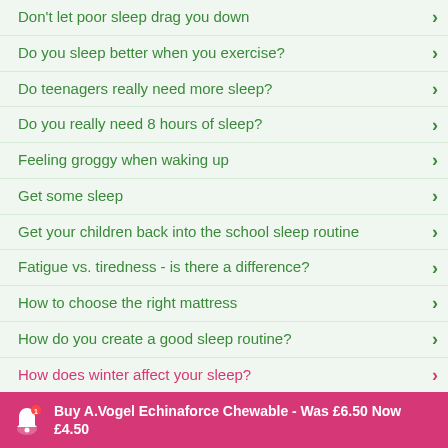Don't let poor sleep drag you down
Do you sleep better when you exercise?
Do teenagers really need more sleep?
Do you really need 8 hours of sleep?
Feeling groggy when waking up
Get some sleep
Get your children back into the school sleep routine
Fatigue vs. tiredness - is there a difference?
How to choose the right mattress
How do you create a good sleep routine?
How does winter affect your sleep?
How does your liver affect your sleep?
How do I get rid of stress before bedtime?
How do I recover from lack of sleep fast?
How long does it take to recover from jet lag?
Buy A.Vogel Echinaforce Chewable - Was £6.50 Now £4.50